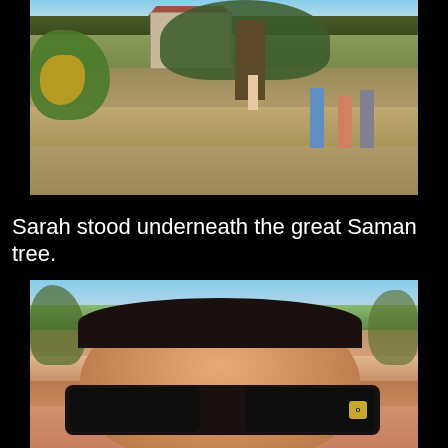[Figure (photo): Outdoor photo showing a large Saman tree in a grassy area with a building behind it. A person stands under the tree, and three people stand to the right side conversing. Tropical foliage visible on the left.]
Sarah stood underneath the great Saman tree.
[Figure (photo): Close-up photo of a person's face showing the forehead and sunglasses (Oakley brand). Trees and sky visible in the background.]